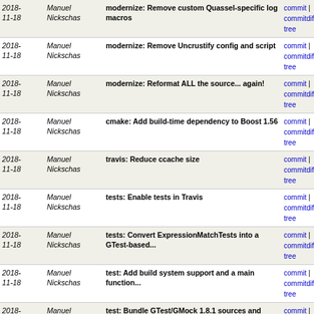| Date | Author | Message | Links |
| --- | --- | --- | --- |
| 2018-11-18 | Manuel Nickschas | modernize: Remove custom Quassel-specific log macros | commit | commitdiff | tree |
| 2018-11-18 | Manuel Nickschas | modernize: Remove Uncrustify config and script | commit | commitdiff | tree |
| 2018-11-18 | Manuel Nickschas | modernize: Reformat ALL the source... again! | commit | commitdiff | tree |
| 2018-11-18 | Manuel Nickschas | cmake: Add build-time dependency to Boost 1.56 | commit | commitdiff | tree |
| 2018-11-18 | Manuel Nickschas | travis: Reduce ccache size | commit | commitdiff | tree |
| 2018-11-18 | Manuel Nickschas | tests: Enable tests in Travis | commit | commitdiff | tree |
| 2018-11-18 | Manuel Nickschas | tests: Convert ExpressionMatchTests into a GTest-based... | commit | commitdiff | tree |
| 2018-11-18 | Manuel Nickschas | test: Add build system support and a main function... | commit | commitdiff | tree |
| 2018-11-18 | Manuel Nickschas | test: Bundle GTest/GMock 1.8.1 sources and provide... | commit | commitdiff | tree |
| 2018-11-18 | Manuel Nickschas | modernize: Require member function pointers for Settings... | commit | commitdiff | tree |
| 2018-11-18 | Manuel Nickschas | modernize: Remove old-style slot usage in NetworkModelController | commit | commitdiff | tree |
| 2018-11-18 | Manuel Nickschas | modernize: Don't use apparent connect-by-name slots... | commit | commitdiff | tree |
| 2018-11-18 | Manuel Nickschas | modernize: Migrate action-related things to PMF connects... | commit | commitdiff | tree |